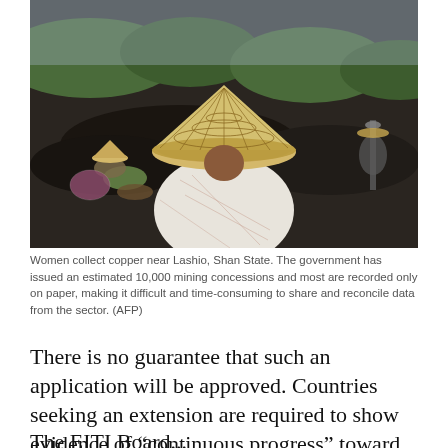[Figure (photo): Women collecting copper on a dark, barren landscape near Lashio, Shan State. A woman wearing a large woven straw hat and a white shawl is prominently in the foreground, back to camera. Two other women are bent over working in the background left, and another figure with a shovel is visible on the far right. Dark hills and green trees are visible in the background.]
Women collect copper near Lashio, Shan State. The government has issued an estimated 10,000 mining concessions and most are recorded only on paper, making it difficult and time-consuming to share and reconcile data from the sector. (AFP)
There is no guarantee that such an application will be approved. Countries seeking an extension are required to show evidence of “continuous progress” toward meeting the deadline, and that the delay was due to “exceptional circumstances”.
The EITI Board...